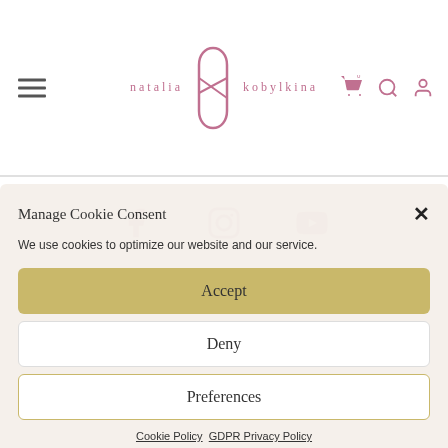[Figure (screenshot): Website header with hamburger menu, Natalia Kobylkina logo, cart, search, and user icons]
[Figure (screenshot): Social media icons row: Facebook, Instagram, YouTube in pink circles]
Manage Cookie Consent
We use cookies to optimize our website and our service.
Accept
Deny
Preferences
Cookie Policy   GDPR Privacy Policy